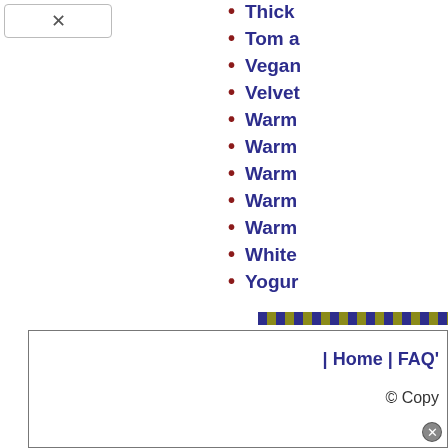Thick
Tom a
Vegan
Velvet
Warm
Warm
Warm
Warm
Warm
White
Yogur
| Home | FAQ'   © Copy